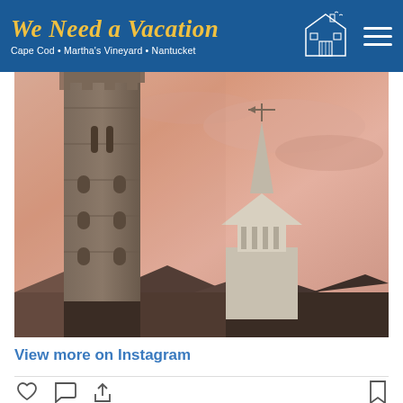We Need a Vacation — Cape Cod • Martha's Vineyard • Nantucket
[Figure (photo): Photo of a tall stone tower (Pilgrim Monument) and a white church steeple against a pink/salmon sunset sky, taken in Provincetown, Cape Cod]
View more on Instagram